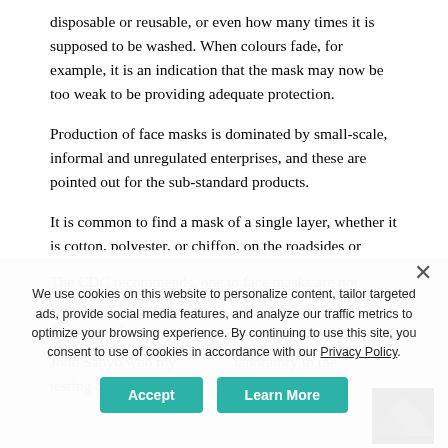disposable or reusable, or even how many times it is supposed to be washed. When colours fade, for example, it is an indication that the mask may now be too weak to be providing adequate protection.
Production of face masks is dominated by small-scale, informal and unregulated enterprises, and these are pointed out for the sub-standard products.
It is common to find a mask of a single layer, whether it is cotton, polyester, or chiffon, on the roadsides or shops, and many buyers are attracted by price differences and colour.
The CDC recommends, one to face masks are not chosen, these ... and ...
John Sanyo who my ... laboratory in the testing department ... combinations of
We use cookies on this website to personalize content, tailor targeted ads, provide social media features, and analyze our traffic metrics to optimize your browsing experience. By continuing to use this site, you consent to use of cookies in accordance with our Privacy Policy.